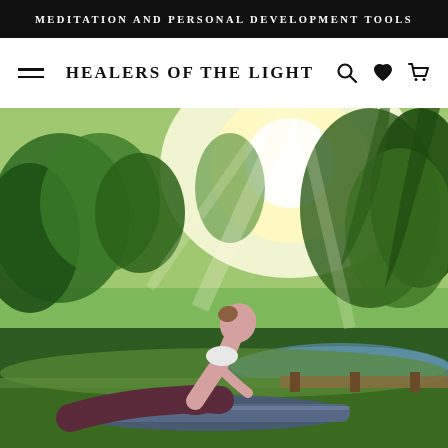MEDITATION AND PERSONAL DEVELOPMENT TOOLS
HEALERS OF THE LIGHT
[Figure (photo): Woman performing upward-facing dog yoga pose on a mat outdoors in a sunlit park near a lake, with green trees in the background and bright sunlight streaming through.]